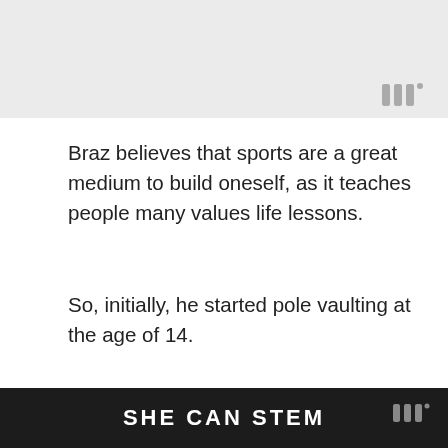[Figure (photo): Gray image area at top of page, partially visible]
Braz believes that sports are a great medium to build oneself, as it teaches people many values life lessons.
So, initially, he started pole vaulting at the age of 14.
Thiago Braz: Career
Brazilian athlete Braz is professionally a pole vaulter who has been competing in the championships since 2009.
SHE CAN STEM